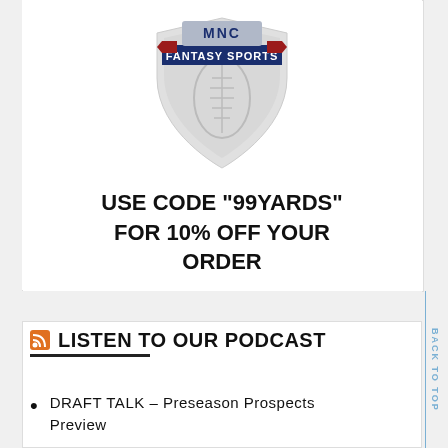[Figure (logo): Fantasy Sports shield/crest logo with red ribbon banner and 'FANTASY SPORTS' text in blue banner, football in center of gray shield]
USE CODE "99YARDS" FOR 10% OFF YOUR ORDER
LISTEN TO OUR PODCAST
DRAFT TALK – Preseason Prospects Preview